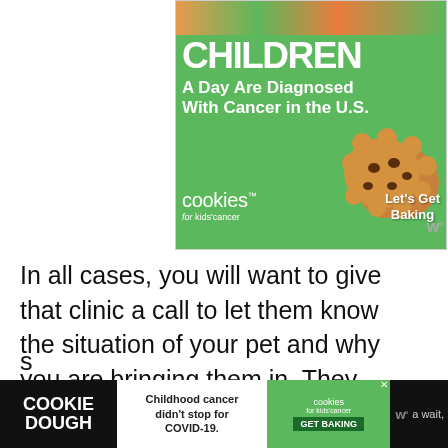[Figure (screenshot): Green advertisement banner for 'Cookies for Kids' Cancer' showing large white text 'CHILDREN A Day Are Diagnosed With Cancer in the U.S.' with cookies logo and 'Let's Get Baking' call to action]
In all cases, you will want to give that clinic a call to let them know the situation of your pet and why you are bringing them in. They can help triage your pet over the phone to determine how urgent your pet needs to be seen.
[Figure (screenshot): Bottom advertisement banner: black background with 'COOKIE DOUGH' text, white middle section 'Childhood cancer didn't stop for COVID-19.', green right section with cookies for kids cancer logo and 'GET BAKING' button]
s a wait,